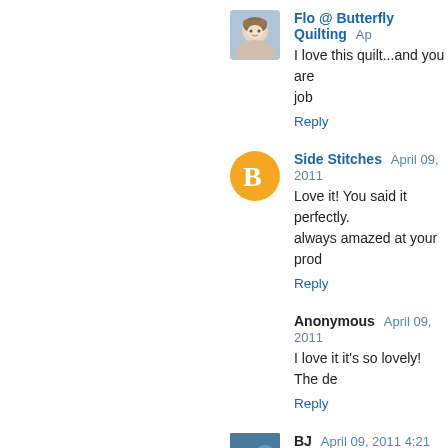Flo @ Butterfly Quilting — I love this quilt...and you are doing such a great job
Reply
Side Stitches April 09, 2011 — Love it! You said it perfectly. I am always amazed at your prod...
Reply
Anonymous April 09, 2011 — I love it it's so lovely! The de...
Reply
BJ April 09, 2011 4:21 AM — Love it. The black and white... Thanks for the inspiration.
Reply